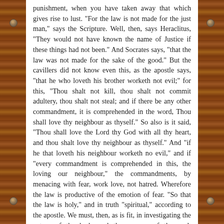punishment, when you have taken away that which gives rise to lust. "For the law is not made for the just man," says the Scripture. Well, then, says Heraclitus, "They would not have known the name of Justice if these things had not been." And Socrates says, "that the law was not made for the sake of the good." But the cavillers did not know even this, as the apostle says, "that he who loveth his brother worketh not evil;" for this, "Thou shalt not kill, thou shalt not commit adultery, thou shalt not steal; and if there be any other commandment, it is comprehended in the word, Thou shall love thy neighbour as thyself." So also is it said, "Thou shall love the Lord thy God with all thy heart, and thou shalt love thy neighbour as thyself." And "if he that loveth his neighbour worketh no evil," and if "every commandment is comprehended in this, the loving our neighbour," the commandments, by menacing with fear, work love, not hatred. Wherefore the law is productive of the emotion of fear. "So that the law is holy," and in truth "spiritual," according to the apostle. We must, then, as is fit, in investigating the nature of the body and the essence of the soul, apprehend the end of each, and not regard death as an evil. "For when ye were the servants of sin," says the apostle, "ye were free from